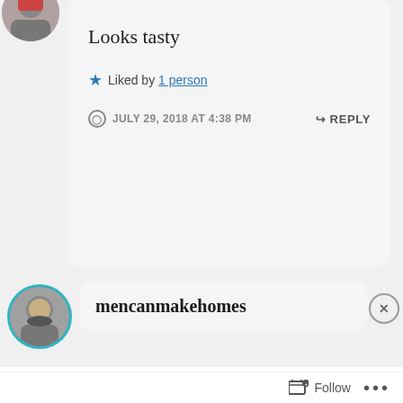[Figure (photo): User avatar at top left, partially cropped circular image]
Looks tasty
★ Liked by 1 person
JULY 29, 2018 AT 4:38 PM   ↪ REPLY
[Figure (photo): Second user avatar with teal circular border]
mencanmakehomes
Advertisements
[Figure (screenshot): DuckDuckGo advertisement: Search, browse, and email with more privacy. All in One Free App]
Follow